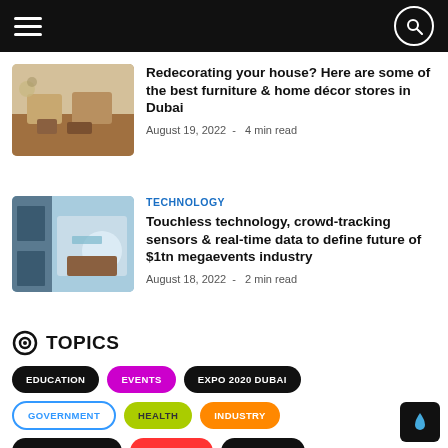Navigation header with hamburger menu and search icon
[Figure (photo): Interior room with furniture - living room with chairs and wooden floor]
Redecorating your house? Here are some of the best furniture & home décor stores in Dubai
August 19, 2022  -  4 min read
TECHNOLOGY
[Figure (photo): Men in white thobes sitting around a table in a meeting room with technology displays]
Touchless technology, crowd-tracking sensors & real-time data to define future of $1tn megaevents industry
August 18, 2022  -  2 min read
TOPICS
EDUCATION
EVENTS
EXPO 2020 DUBAI
GOVERNMENT
HEALTH
INDUSTRY
INTERNATIONAL
LIFESTYLE
RESEARCH